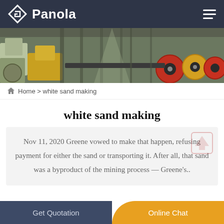Panola
[Figure (photo): Industrial factory floor with heavy mining/crushing equipment, yellow and red machinery, large rollers and conveyors in a warehouse setting]
Home > white sand making
white sand making
Nov 11, 2020 Greene vowed to make that happen, refusing payment for either the sand or transporting it. After all, that sand was a byproduct of the mining process — Greene's..
Get Quotation   Online Chat